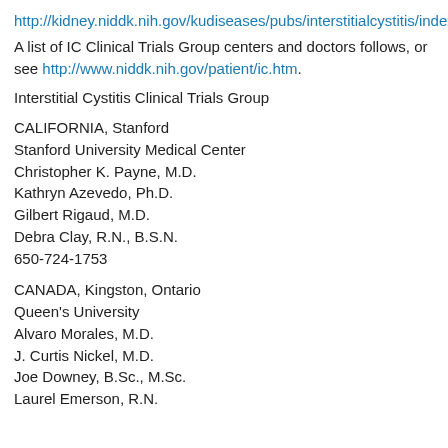http://kidney.niddk.nih.gov/kudiseases/pubs/interstitialcystitis/index.h
A list of IC Clinical Trials Group centers and doctors follows, or see http://www.niddk.nih.gov/patient/ic.htm.
Interstitial Cystitis Clinical Trials Group
CALIFORNIA, Stanford
Stanford University Medical Center
Christopher K. Payne, M.D.
Kathryn Azevedo, Ph.D.
Gilbert Rigaud, M.D.
Debra Clay, R.N., B.S.N.
650-724-1753
CANADA, Kingston, Ontario
Queen's University
Alvaro Morales, M.D.
J. Curtis Nickel, M.D.
Joe Downey, B.Sc., M.Sc.
Laurel Emerson, R.N.